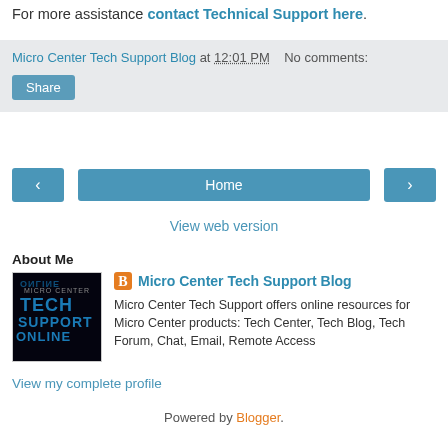For more assistance contact Technical Support here.
Micro Center Tech Support Blog at 12:01 PM   No comments:
Share
[Figure (screenshot): Navigation row with left arrow button, Home button, right arrow button]
View web version
About Me
[Figure (logo): Micro Center Tech Support Online logo - dark background with stylized text]
Micro Center Tech Support Blog
Micro Center Tech Support offers online resources for Micro Center products: Tech Center, Tech Blog, Tech Forum, Chat, Email, Remote Access
View my complete profile
Powered by Blogger.